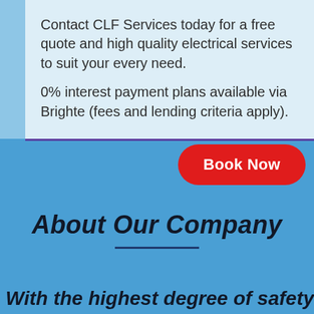Contact CLF Services today for a free quote and high quality electrical services to suit your every need.
0% interest payment plans available via Brighte (fees and lending criteria apply).
[Figure (other): Red 'Book Now' button with rounded corners on a blue background]
About Our Company
With the highest degree of safety